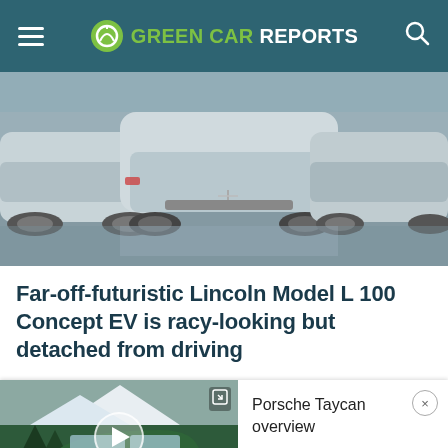GREEN CAR REPORTS
[Figure (photo): Rear view of a silver Lincoln Model L100 Concept EV on reflective surface]
Far-off-futuristic Lincoln Model L 100 Concept EV is racy-looking but detached from driving
[Figure (screenshot): Video thumbnail of green Porsche Taycan wagon in snowy mountain scene with play button overlay]
Porsche Taycan overview